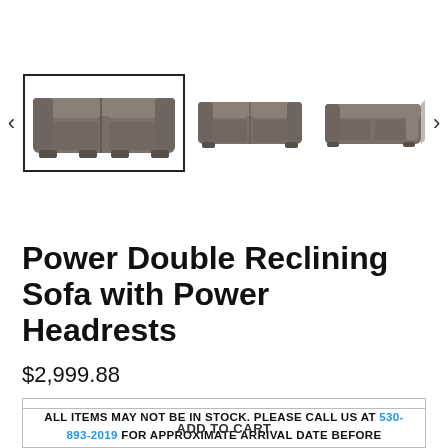[Figure (photo): Product image gallery showing three thumbnail views of a dark gray power double reclining sofa. The first/selected thumbnail is highlighted with a black border. Navigation arrows (< and >) on either side.]
Power Double Reclining Sofa with Power Headrests
$2,999.88
ALL ITEMS MAY NOT BE IN STOCK. PLEASE CALL US AT 530-893-2019 FOR APPROXIMATE ARRIVAL DATE BEFORE COMPLETING YOUR ORDER.
ADD TO CART